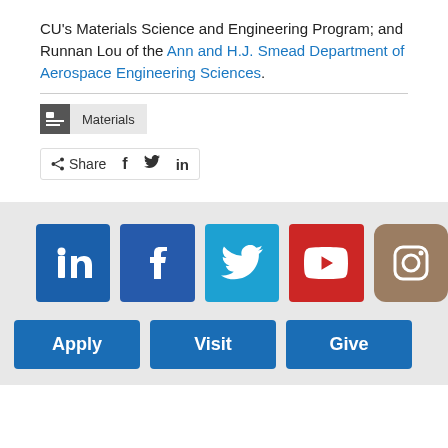CU's Materials Science and Engineering Program; and Runnan Lou of the Ann and H.J. Smead Department of Aerospace Engineering Sciences.
Materials
Share  f  in
[Figure (infographic): Footer with social media icons (LinkedIn, Facebook, Twitter, YouTube, Instagram) and action buttons (Apply, Visit, Give)]